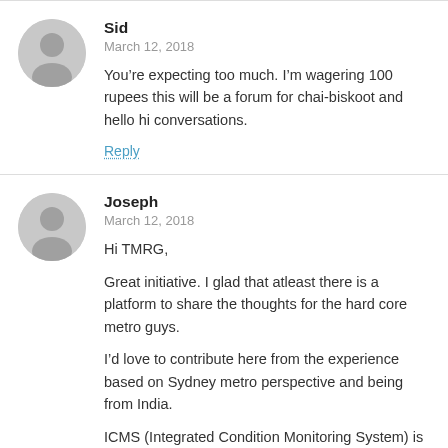Sid
March 12, 2018
You’re expecting too much. I’m wagering 100 rupees this will be a forum for chai-biskoot and hello hi conversations.
Reply
Joseph
March 12, 2018
Hi TMRG,
Great initiative. I glad that atleast there is a platform to share the thoughts for the hard core metro guys.
I’d love to contribute here from the experience based on Sydney metro perspective and being from India.
ICMS (Integrated Condition Monitoring System) is going to be the new concept for the upcoming SGT growth trains of Sydney. I will talk about it at a later